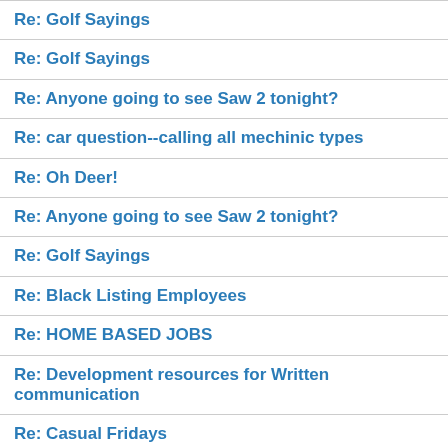Re: Golf Sayings
Re: Golf Sayings
Re: Anyone going to see Saw 2 tonight?
Re: car question--calling all mechinic types
Re: Oh Deer!
Re: Anyone going to see Saw 2 tonight?
Re: Golf Sayings
Re: Black Listing Employees
Re: HOME BASED JOBS
Re: Development resources for Written communication
Re: Casual Fridays
Re: Age and Bank Position of Posters in Cooler
Re: Animals in a horror world of our making